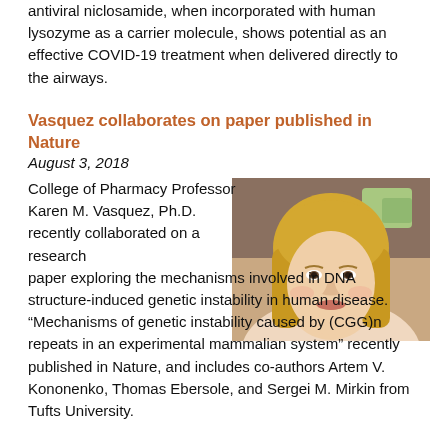antiviral niclosamide, when incorporated with human lysozyme as a carrier molecule, shows potential as an effective COVID-19 treatment when delivered directly to the airways.
Vasquez collaborates on paper published in Nature
August 3, 2018
College of Pharmacy Professor Karen M. Vasquez, Ph.D. recently collaborated on a research paper exploring the mechanisms involved in DNA structure-induced genetic instability in human disease. “Mechanisms of genetic instability caused by (CGG)n repeats in an experimental mammalian system” recently published in Nature, and includes co-authors Artem V. Kononenko, Thomas Ebersole, and Sergei M. Mirkin from Tufts University.
[Figure (photo): Headshot of Professor Karen M. Vasquez, a woman with long blonde hair, smiling, in a laboratory setting.]